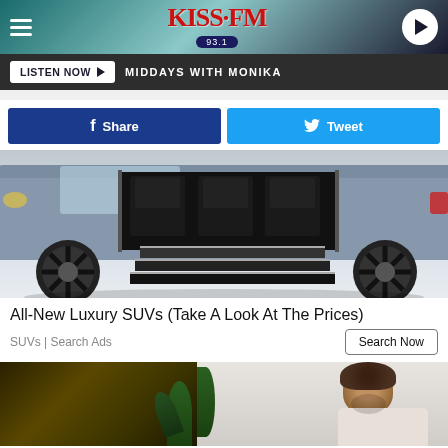[Figure (screenshot): KISS FM 93.1 radio station website header with logo, hamburger menu, and play button]
LISTEN NOW ▶  MIDDAYS WITH MONIKA
f  Share
Tweet
[Figure (photo): Luxury SUV with open doors revealing interior seats and retractable steps, shown in blue/grey color]
All-New Luxury SUVs (Take A Look At The Prices)
SUVs | Search Ads
Search Now
[Figure (photo): Split image: left side shows dark green/plant background, right side shows a man with curly hair looking down]